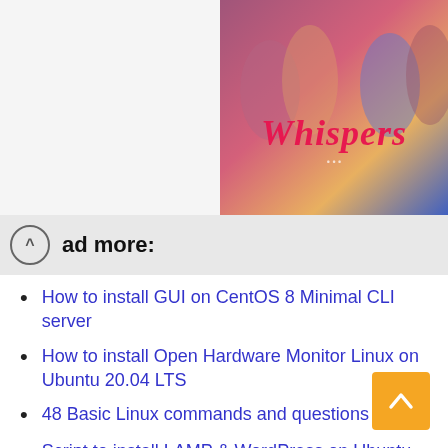[Figure (photo): Decorative image with the word 'Whispers' stylized in pink/red script font, showing characters from what appears to be a romance app or game, set against a colorful background.]
ad more:
How to install GUI on CentOS 8 Minimal CLI server
How to install Open Hardware Monitor Linux on Ubuntu 20.04 LTS
48 Basic Linux commands and questions
Script to install LAMP & WordPress on Ubuntu 20.04 LTS server quickly